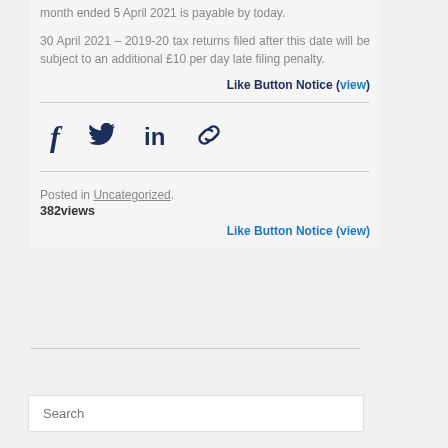month ended 5 April 2021 is payable by today.
30 April 2021 – 2019-20 tax returns filed after this date will be subject to an additional £10 per day late filing penalty.
Like Button Notice (view)
[Figure (other): Social share icons: Facebook, Twitter, LinkedIn, and a link/chain icon]
Posted in Uncategorized. 382views
Like Button Notice (view)